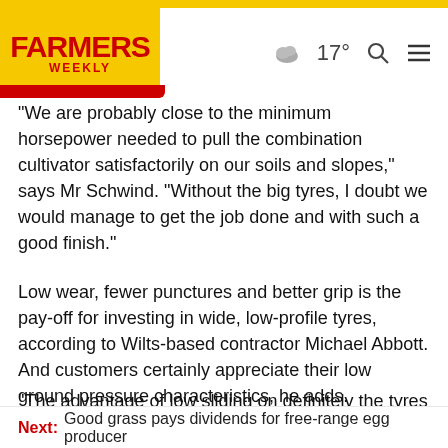FARMERS WEEKLY | 17° [weather] [search] [menu]
"We are probably close to the minimum horsepower needed to pull the combination cultivator satisfactorily on our soils and slopes," says Mr Schwind. "Without the big tyres, I doubt we would manage to get the job done and with such a good finish."
Low wear, fewer punctures and better grip is the pay-off for investing in wide, low-profile tyres, according to Wilts-based contractor Michael Abbott. And customers certainly appreciate their low ground pressure characteristics, he adds.
"The advantage of low sliding on definitely the tyres to...
Next: Good grass pays dividends for free-range egg producer